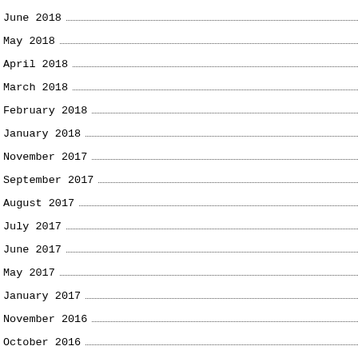June 2018
May 2018
April 2018
March 2018
February 2018
January 2018
November 2017
September 2017
August 2017
July 2017
June 2017
May 2017
January 2017
November 2016
October 2016